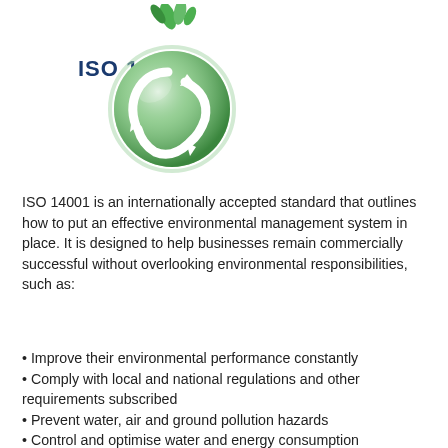[Figure (logo): ISO 14001 logo with green globe/earth recycling symbol and green leaves on top, with 'ISO 14001' text in dark blue bold lettering]
ISO 14001 is an internationally accepted standard that outlines how to put an effective environmental management system in place. It is designed to help businesses remain commercially successful without overlooking environmental responsibilities, such as:
Improve their environmental performance constantly
Comply with local and national regulations and other requirements subscribed
Prevent water, air and ground pollution hazards
Control and optimise water and energy consumption
Promote waste recycling and recovery
Raise environmental awareness among employees and train them to adopt good practices in their activity